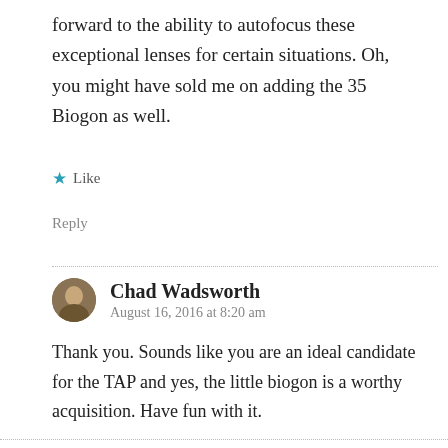forward to the ability to autofocus these exceptional lenses for certain situations. Oh, you might have sold me on adding the 35 Biogon as well.
Like
Reply
Chad Wadsworth
August 16, 2016 at 8:20 am
Thank you. Sounds like you are an ideal candidate for the TAP and yes, the little biogon is a worthy acquisition. Have fun with it.
Like
Reply